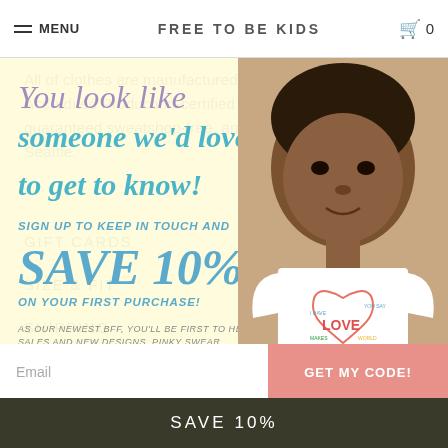≡ MENU   FREE TO BE KIDS   🛒 0
All of clothes are manufactured in Worldwide Responsible Accredited Production-certified factories, so they're guaranteed sweatshop-free, and hand printed with love in Seattle.
GIFT CARDS
SIZE & FIT
SHIPPING
RETURNS
CONTACT
[Figure (screenshot): Popup overlay with light yellow background showing promotional text: 'You look like someone we'd love to get to know!' with 'SIGN UP TO KEEP IN TOUCH AND SAVE 10% ON YOUR FIRST PURCHASE!' in teal, and a photo of a young child wearing a white t-shirt with a heart graphic containing the word LOVE. Email input field and GET MY CODE! button at bottom. Close X button in top right.]
SAVE 10%